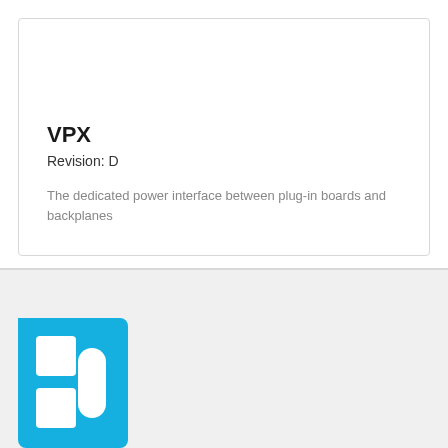VPX
Revision: D
The dedicated power interface between plug-in boards and backplanes
[Figure (logo): Blue square logo with a stylized 'P' or 'D' shape cutout, partially visible at the bottom of the page]